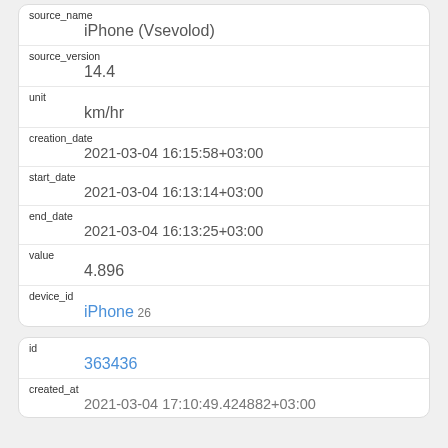| source_name | iPhone (Vsevolod) |
| source_version | 14.4 |
| unit | km/hr |
| creation_date | 2021-03-04 16:15:58+03:00 |
| start_date | 2021-03-04 16:13:14+03:00 |
| end_date | 2021-03-04 16:13:25+03:00 |
| value | 4.896 |
| device_id | iPhone 26 |
| id | 363436 |
| created_at | 2021-03-04 17:10:49.424882+03:00 |